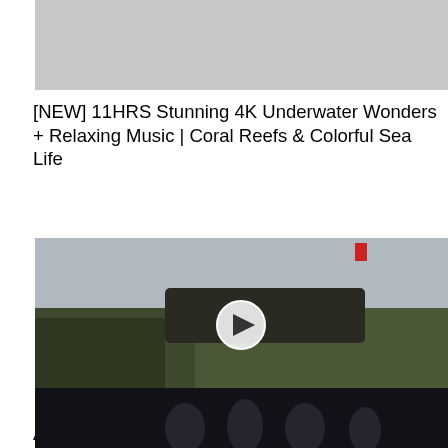[Figure (photo): Light gray placeholder image at the top of the page, partially visible]
[NEW] 11HRS Stunning 4K Underwater Wonders + Relaxing Music | Coral Reefs & Colorful Sea Life
[Figure (photo): Photo of Chinese military officers in green uniforms and caps marching, with a play button overlay in the center]
America Is Worried By China's Growing Military
[Figure (photo): Dark image partially visible at the bottom of the page]